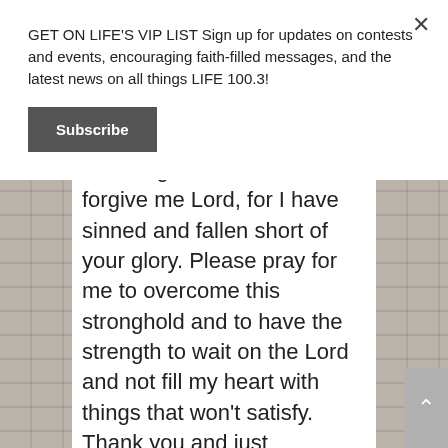GET ON LIFE'S VIP LIST Sign up for updates on contests and events, encouraging faith-filled messages, and the latest news on all things LIFE 100.3!
Subscribe
desperately and I have been crying out to God, I've been following my own will and not relying on the Lord for strength or His help, also believing in lies. Please forgive me Lord, for I have sinned and fallen short of your glory. Please pray for me to overcome this stronghold and to have the strength to wait on the Lord and not fill my heart with things that won't satisfy. Thank you and just